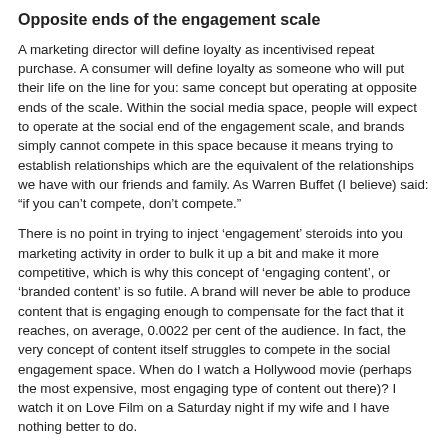Opposite ends of the engagement scale
A marketing director will define loyalty as incentivised repeat purchase.  A consumer will define loyalty as someone who will put their life on the line for you: same concept but operating at opposite ends of the scale.   Within the social media space, people will expect to operate at the social end of the engagement scale, and brands simply cannot compete in this space because it means trying to establish relationships which are the equivalent of the relationships we have with our friends and family.  As Warren Buffet (I believe) said: “if you can’t compete, don’t compete.”
There is no point in trying to inject ‘engagement’ steroids into you marketing activity in order to bulk it up a bit and make it more competitive, which is why this concept of ‘engaging content’, or ‘branded content’ is so futile.  A brand will never be able to produce content that is engaging enough to compensate for the fact that it reaches, on average, 0.0022 per cent of the audience.  In fact, the very concept of content itself struggles to compete in the social engagement space.  When do I watch a Hollywood movie (perhaps the most expensive, most engaging type of content out there)?  I watch it on Love Film on a Saturday night if my wife and I have nothing better to do.